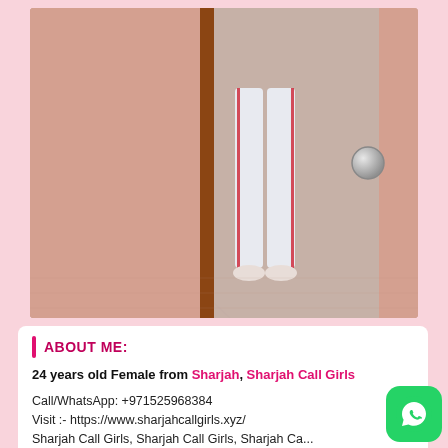[Figure (photo): Mirror selfie photo showing lower body in white jeans and heels, standing on pink marble floor with wooden door frame visible]
ABOUT ME:
24 years old Female from Sharjah, Sharjah Call Girls
Call/WhatsApp: +971525968384
Visit :- https://www.sharjahcallgirls.xyz/
Sharjah Call Girls, Sharjah Call Girls, Sharjah Call Girls Service, Female Call Girls Sharjah, Sharjah